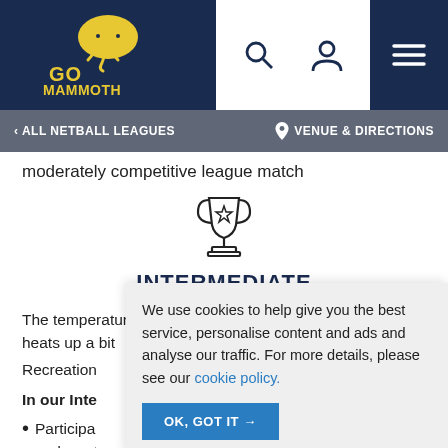[Figure (logo): Go Mammoth logo - yellow mammoth graphic with 'GO MAMMOTH' text on dark navy background]
< ALL NETBALL LEAGUES   VENUE & DIRECTIONS
moderately competitive league match
[Figure (illustration): Trophy icon with star]
INTERMEDIATE
The temperature in the Intermediate level heats up a bit compared to the Recreation...
In our Inte...
Participa... and want...
Once yo... Recreational level this is a natural step if
We use cookies to help give you the best service, personalise content and ads and analyse our traffic. For more details, please see our cookie policy.